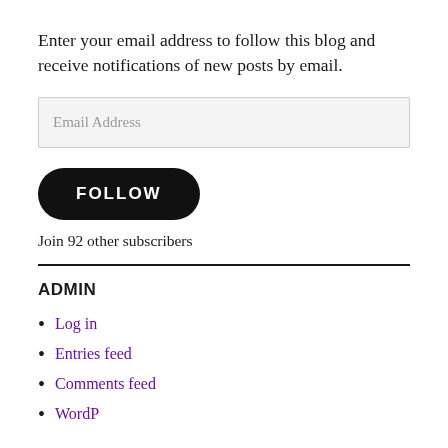Enter your email address to follow this blog and receive notifications of new posts by email.
[Figure (other): Email Address input field (form element)]
[Figure (other): FOLLOW button (black rounded button with white text)]
Join 92 other subscribers
ADMIN
Log in
Entries feed
Comments feed
WordPress (partially visible)